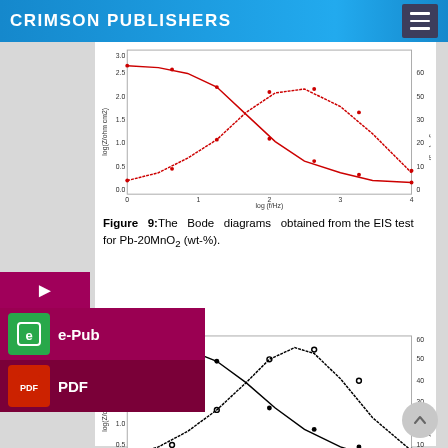CRIMSON PUBLISHERS
[Figure (continuous-plot): Bode diagram (red curves) for Pb-20MnO2 (wt-%) showing log(Z/ohm cm2) on left y-axis (0.5 to 3.5) and -Phase angle (deg) on right y-axis (0 to 60) vs log(f/Hz) on x-axis (0 to 4). Two crossing curves: impedance decreasing and phase angle bell-shaped.]
Figure 9:The Bode diagrams obtained from the EIS test for Pb-20MnO2 (wt-%).
[Figure (continuous-plot): Bode diagram (black curves) for another sample showing log(Z/ohm cm2) on left y-axis (0.0 to 3.5) and -Phase angle (deg) on right y-axis (0 to 70) vs log(f/Hz) on x-axis (0 to 4). Two curves: impedance decreasing from ~3.0 and phase angle bell-shaped peaking near log f=2.]